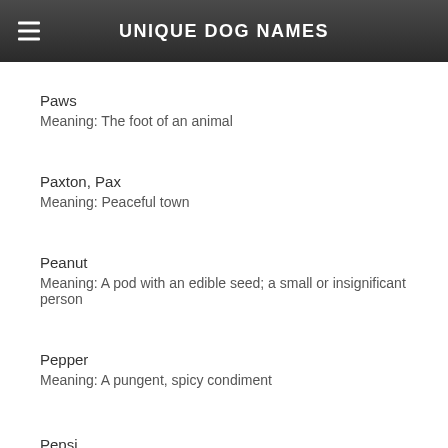UNIQUE DOG NAMES
Paws
Meaning: The foot of an animal
Paxton, Pax
Meaning: Peaceful town
Peanut
Meaning: A pod with an edible seed; a small or insignificant person
Pepper
Meaning: A pungent, spicy condiment
Pepsi